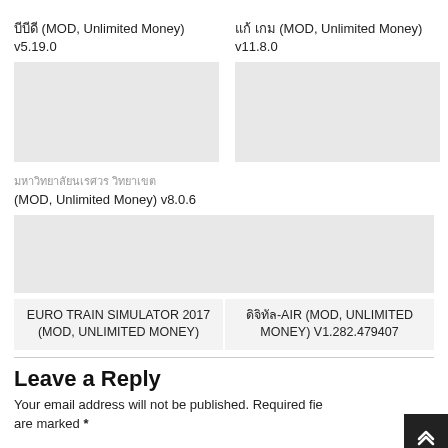บีบีดี (MOD, Unlimited Money) v5.19.0
[Figure (other): App icon image placeholder for บีบีดี MOD]
แก้ เกม (MOD, Unlimited Money) v11.8.0
[Figure (other): App icon image placeholder for แก้ เกม MOD]
มหาวิทยาลัยนเรศวร วิทยาเขต (MOD, Unlimited Money) v8.0.6
[Figure (other): App icon image placeholder for มหาวิทยาลัยนเรศวร MOD]
EURO TRAIN SIMULATOR 2017 (MOD, UNLIMITED MONEY)
ดิจิทัล-AIR (MOD, UNLIMITED MONEY) V1.282.479407
Leave a Reply
Your email address will not be published. Required fields are marked *